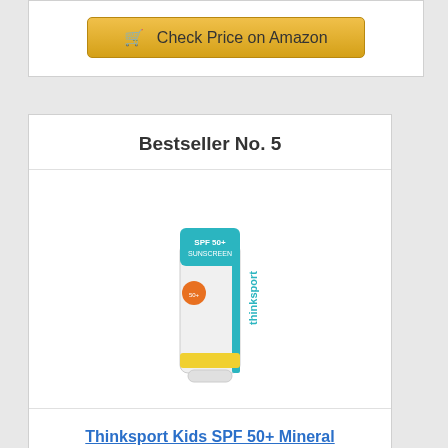Check Price on Amazon
Bestseller No. 5
[Figure (photo): Thinksport Kids SPF 50+ sunscreen tube — white tube with teal cap, teal and yellow labeling, orange circle logo]
Thinksport Kids SPF 50+ Mineral Sunscreen – Safe, Natural Sunblock for Children - Water Resistant...
Check Price on Amazon